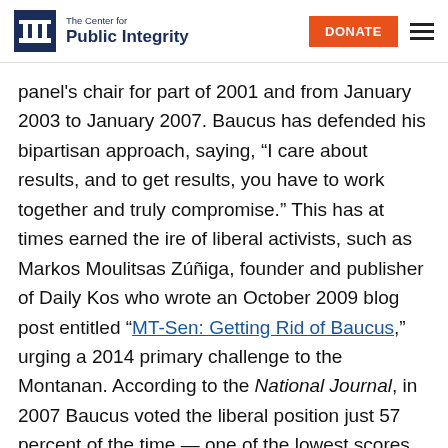The Center for Public Integrity | DONATE
panel's chair for part of 2001 and from January 2003 to January 2007. Baucus has defended his bipartisan approach, saying, “I care about results, and to get results, you have to work together and truly compromise.” This has at times earned the ire of liberal activists, such as Markos Moulitsas Zúñiga, founder and publisher of Daily Kos who wrote an October 2009 blog post entitled “MT-Sen: Getting Rid of Baucus,” urging a 2014 primary challenge to the Montanan. According to the National Journal, in 2007 Baucus voted the liberal position just 57 percent of the time — one of the lowest scores of any Democrat.